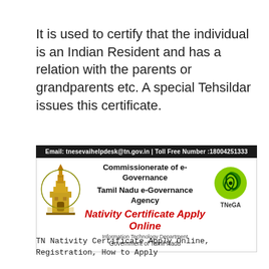It is used to certify that the individual is an Indian Resident and has a relation with the parents or grandparents etc. A special Tehsildar issues this certificate.
[Figure (infographic): Tamil Nadu e-Governance Agency banner with temple logo on left, TNeGA logo on right, showing Commissionerate of e-Governance, Tamil Nadu e-Governance Agency, Nativity Certificate Apply Online, Information Technology Department, Government of Tamil Nadu. Top bar shows email tnesevaihelpdesk@tn.gov.in and Toll Free Number 18004251333.]
TN Nativity Certificate Apply Online, Registration, How to Apply